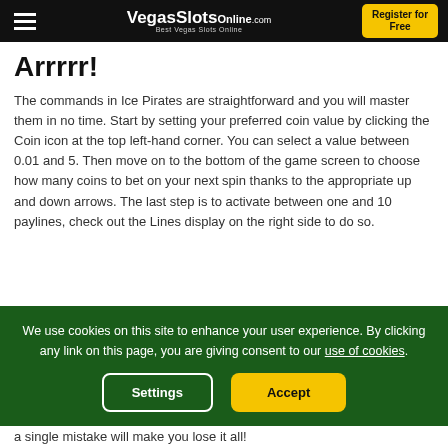VegasSlotsonline.com — Best Vegas Slots Online | Register for Free
Arrrrr!
The commands in Ice Pirates are straightforward and you will master them in no time. Start by setting your preferred coin value by clicking the Coin icon at the top left-hand corner. You can select a value between 0.01 and 5. Then move on to the bottom of the game screen to choose how many coins to bet on your next spin thanks to the appropriate up and down arrows. The last step is to activate between one and 10 paylines, check out the Lines display on the right side to do so.
We use cookies on this site to enhance your user experience. By clicking any link on this page, you are giving consent to our use of cookies.
a single mistake will make you lose it all!